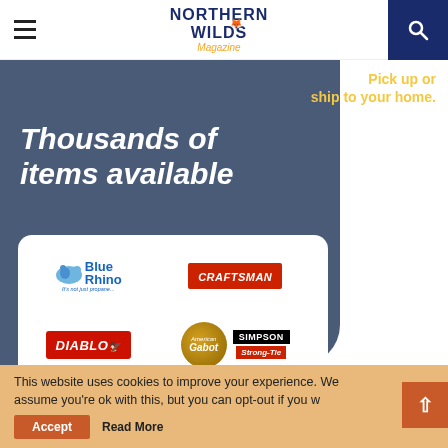Northern Wilds Magazine
[Figure (infographic): Advertisement with dark slate blue background showing 'Pick up or ship to your home.' in yellow and 'Thousands of items available' in white italic bold text, with a white rounded box containing brand logos: Blue Rhino, Craftsman, Diablo, Cabot, Simpson Strong-Tie, Marvin, EGO Power Beyond Belief, Benjamin Moore, DeWalt, Milwaukee]
This website uses cookies to improve your experience. We assume you're ok with this, but you can opt-out if you wish.
Accept
Read More